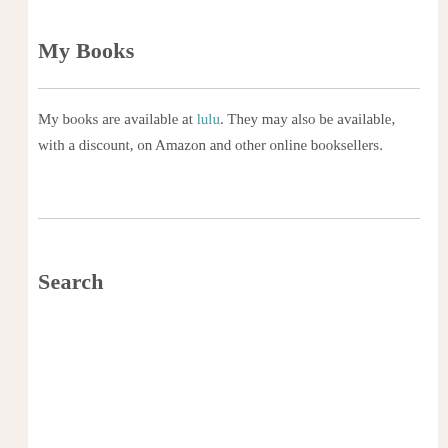My Books
My books are available at lulu. They may also be available, with a discount, on Amazon and other online booksellers.
Search